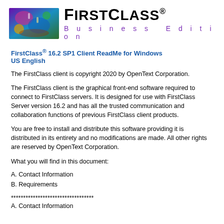[Figure (logo): FirstClass Business Edition logo with colorful graphic on left and bold text 'FIRSTCLASS' with 'Business Edition' in purple spaced letters]
FirstClass® 16.2 SP1 Client ReadMe for Windows
US English
The FirstClass client is copyright 2020 by OpenText Corporation.
The FirstClass client is the graphical front-end software required to connect to FirstClass servers. It is designed for use with FirstClass Server version 16.2 and has all the trusted communication and collaboration functions of previous FirstClass client products.
You are free to install and distribute this software providing it is distributed in its entirety and no modifications are made. All other rights are reserved by OpenText Corporation.
What you will find in this document:
A. Contact Information
B. Requirements
**********************************
A. Contact Information